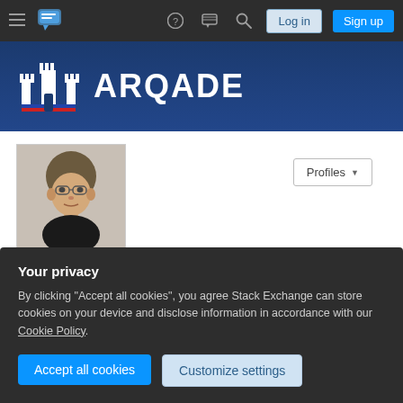Arqade - Stack Exchange gaming community site header with navigation: hamburger menu, site logo, help icon, chat icon, search icon, Log in button, Sign up button
[Figure (logo): Arqade site logo with white castle/tower icon and ARQADE text on dark blue banner background]
[Figure (photo): Profile photo of a young man with glasses wearing a black shirt]
alexyorke
Member for 11 years, 4 months   Last seen more than a week ago
linkedin.com/in/alexyorke
Your privacy
By clicking "Accept all cookies", you agree Stack Exchange can store cookies on your device and disclose information in accordance with our Cookie Policy.
Accept all cookies   Customize settings